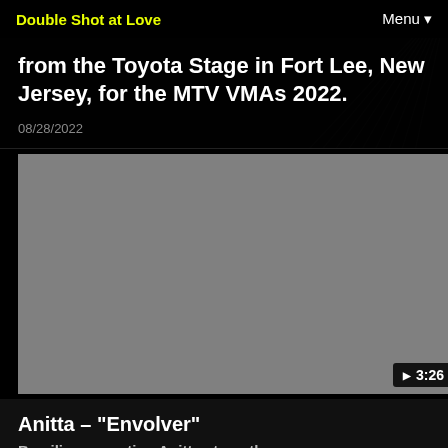Double Shot at Love   Menu
from the Toyota Stage in Fort Lee, New Jersey, for the MTV VMAs 2022.
08/28/2022
[Figure (screenshot): Gray video thumbnail placeholder with play button and duration 3:26 shown in bottom-right corner]
Anitta – "Envolver"
Brazilian sensation Anitta stuns the...